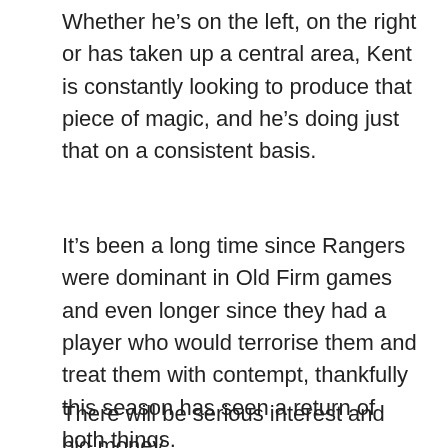Whether he’s on the left, on the right or has taken up a central area, Kent is constantly looking to produce that piece of magic, and he’s doing just that on a consistent basis.
It’s been a long time since Rangers were dominant in Old Firm games and even longer since they had a player who would terrorise them and treat them with contempt, thankfully this season has seen a return of both things.
There will be serious interest and big money